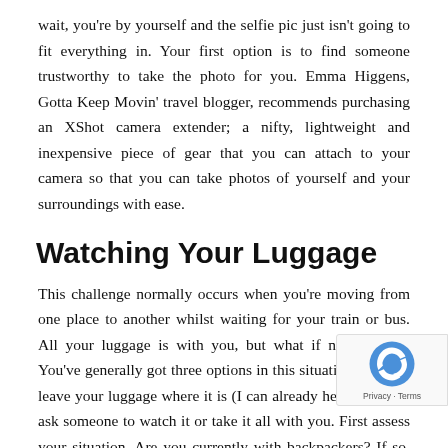wait, you're by yourself and the selfie pic just isn't going to fit everything in. Your first option is to find someone trustworthy to take the photo for you. Emma Higgens, Gotta Keep Movin' travel blogger, recommends purchasing an XShot camera extender; a nifty, lightweight and inexpensive piece of gear that you can attach to your camera so that you can take photos of yourself and your surroundings with ease.
Watching Your Luggage
This challenge normally occurs when you're moving from one place to another whilst waiting for your train or bus. All your luggage is with you, but what if nature calls? You've generally got three options in this situation, you can leave your luggage where it is (I can already hear the no's), ask someone to watch it or take it all with you. First assess your situation. Are you currently with backpackers? If so, then it should be fine to leave your